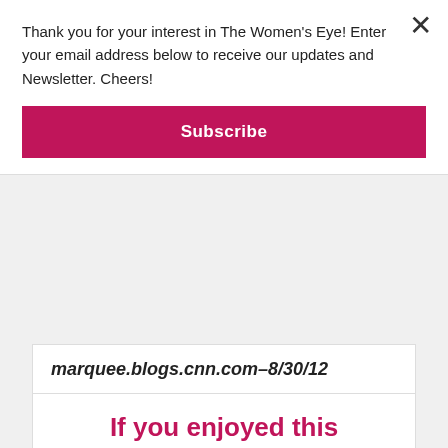Thank you for your interest in The Women's Eye! Enter your email address below to receive our updates and Newsletter. Cheers!
Subscribe
marquee.blogs.cnn.com–8/30/12
Category: Top 10 Eye Links
Tag: Good Morning America, MDS, Robin Roberts, Robin Roberts Medical Leave
If you enjoyed this